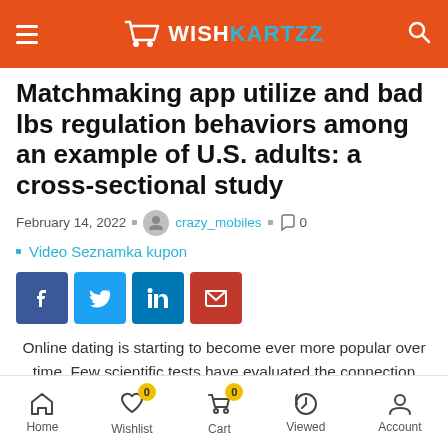WISHKARTZZ
Matchmaking app utilize and bad lbs regulation behaviors among an example of U.S. adults: a cross-sectional study
February 14, 2022  crazy_mobiles  0
Video Seznamka kupon
[Figure (other): Social share buttons: Facebook, Twitter, LinkedIn, Email]
Online dating is starting to become ever more popular over time. Few scientific tests have evaluated the connection
Home  Wishlist 0  Cart 0  Viewed  Account